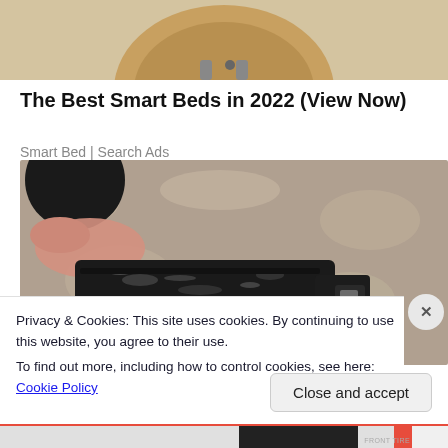[Figure (photo): Partial view of a product (appears to be a watch or device) on tan/beige background, cropped at top]
The Best Smart Beds in 2022 (View Now)
Smart Bed | Search Ads
[Figure (photo): Close-up photo of a person holding a black plastic component (appears to be a firearm magazine or similar hardware component) over a granite/stone surface]
Privacy & Cookies: This site uses cookies. By continuing to use this website, you agree to their use.
To find out more, including how to control cookies, see here: Cookie Policy